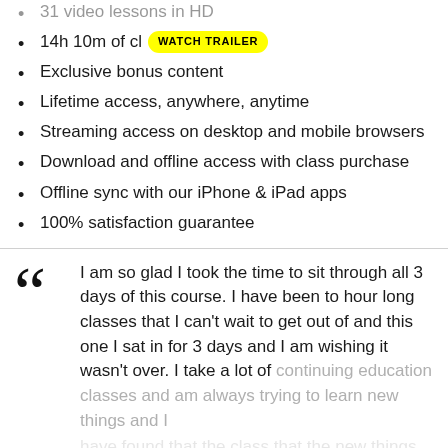31 video lessons in HD
14h 10m of class content
Exclusive bonus content
Lifetime access, anywhere, anytime
Streaming access on desktop and mobile browsers
Download and offline access with class purchase
Offline sync with our iPhone & iPad apps
100% satisfaction guarantee
I am so glad I took the time to sit through all 3 days of this course. I have been to hour long classes that I can't wait to get out of and this one I sat in for 3 days and I am wishing it wasn't over. I take a lot of continuing education classes and am always trying to learn new things and I
SEE FULL REVIEW
Emily Leggett